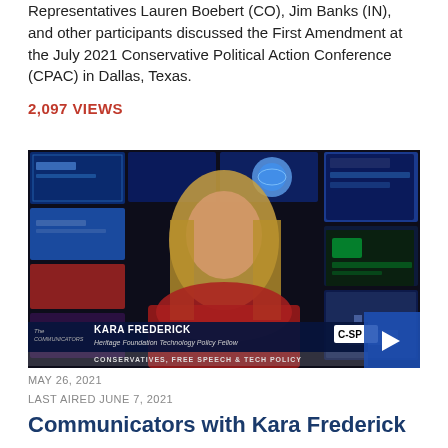Representatives Lauren Boebert (CO), Jim Banks (IN), and other participants discussed the First Amendment at the July 2021 Conservative Political Action Conference (CPAC) in Dallas, Texas.
2,097 VIEWS
[Figure (screenshot): C-SPAN broadcast screenshot showing Kara Frederick, Heritage Foundation Technology Policy Fellow, with lower third chyron reading 'CONSERVATIVES, FREE SPEECH & TECH POLICY']
MAY 26, 2021
LAST AIRED JUNE 7, 2021
Communicators with Kara Frederick